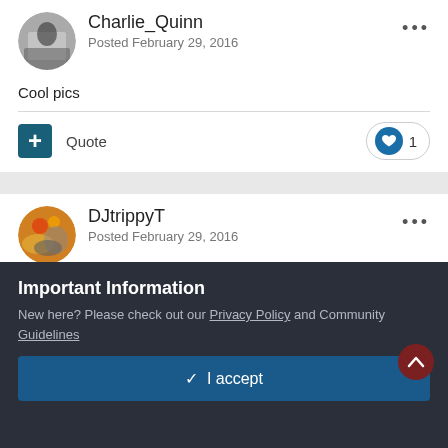Charlie_Quinn
Posted February 29, 2016
Cool pics
Quote
DJtrippyT
Posted February 29, 2016
Wow! Love the new pics!
Important Information
New here? Please check out our Privacy Policy and Community Guidelines
✓  I accept